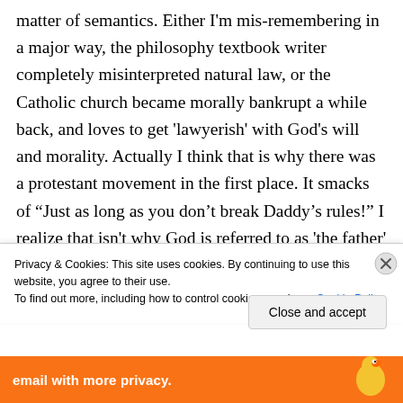matter of semantics. Either I'm mis-remembering in a major way, the philosophy textbook writer completely misinterpreted natural law, or the Catholic church became morally bankrupt a while back, and loves to get 'lawyerish' with God's will and morality. Actually I think that is why there was a protestant movement in the first place. It smacks of "Just as long as you don't break Daddy's rules!" I realize that isn't why God is referred to as 'the father' but maybe there is something about the image of a divine lawgiver
Privacy & Cookies: This site uses cookies. By continuing to use this website, you agree to their use.
To find out more, including how to control cookies, see here: Cookie Policy
Close and accept
email with more privacy.